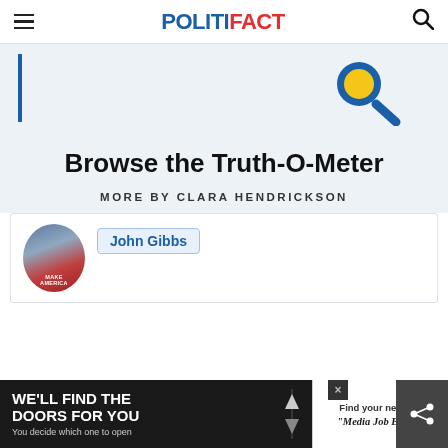POLITIFACT
[Figure (illustration): Hero banner with blue vertical bar on left and blue magnifying glass icon with yellow circle lens on right, on light gray background]
Browse the Truth-O-Meter
MORE BY CLARA HENDRICKSON
[Figure (photo): Card with circular avatar photo of John Gibbs in crowd, with 'MAKE AMERICA' text visible, and a blue highlighted link tag reading 'John Gibbs']
[Figure (infographic): Bottom advertisement bar: left side dark background with 'WE'LL FIND THE DOORS FOR YOU - You decide which one to open' in white text; right side white background with 'Find your next job' and 'Media Job Board' logo]